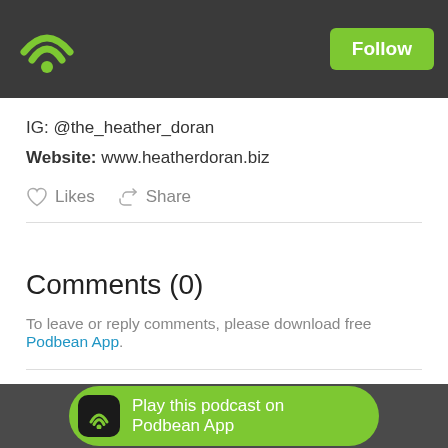[Figure (logo): Podbean wifi/podcast logo icon in green on dark header bar]
Follow
IG: @the_heather_doran
Website: www.heatherdoran.biz
Likes  Share
Comments (0)
To leave or reply comments, please download free Podbean App.
Play this podcast on Podbean App